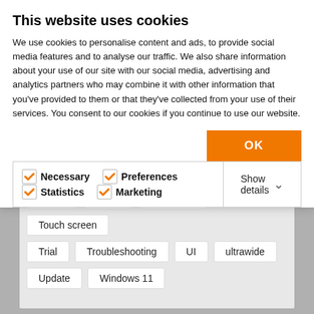This website uses cookies
We use cookies to personalise content and ads, to provide social media features and to analyse our traffic. We also share information about your use of our site with our social media, advertising and analytics partners who may combine it with other information that you've provided to them or that they've collected from your use of their services. You consent to our cookies if you continue to use our website.
OK
Necessary   Preferences   Statistics   Marketing   Show details